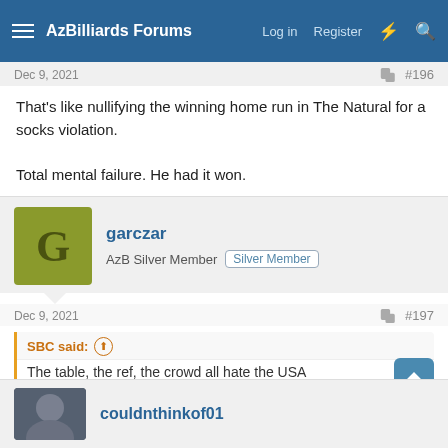AzBilliards Forums  Log in  Register
Dec 9, 2021  #196
That's like nullifying the winning home run in The Natural for a socks violation.

Total mental failure. He had it won.
garczar
AzB Silver Member  Silver Member
Dec 9, 2021  #197
SBC said:
The table, the ref, the crowd all hate the USA
And your point is?????
couldnthinkof01